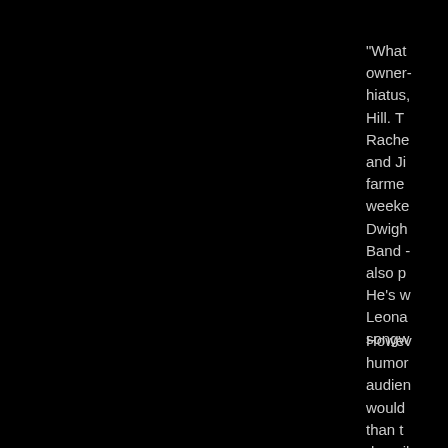"What owner- hiatus, Hill. T Rache and Ji farme weeke Dwigh Band - also p He's w Leona songw
Howev humor audien would than th describ people